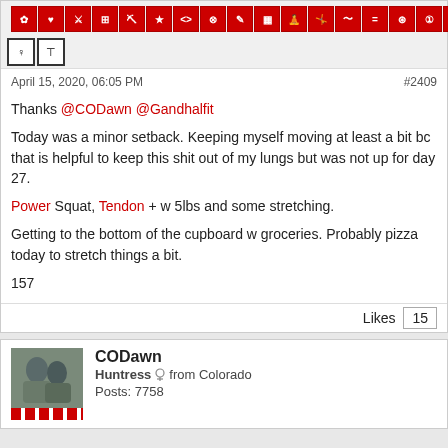[Figure (screenshot): User profile icon strip with red icons for various fitness activity categories]
April 15, 2020, 06:05 PM
#2409
Thanks @CODawn @Gandhalfit

Today was a minor setback. Keeping myself moving at least a bit bc that is helpful to keep this shit out of my lungs but was not up for day 27.

Power Squat, Tendon + w 5lbs and some stretching.

Getting to the bottom of the cupboard w groceries. Probably pizza today to stretch things a bit.

157
Likes 15
CODawn
Huntress from Colorado
Posts: 7758